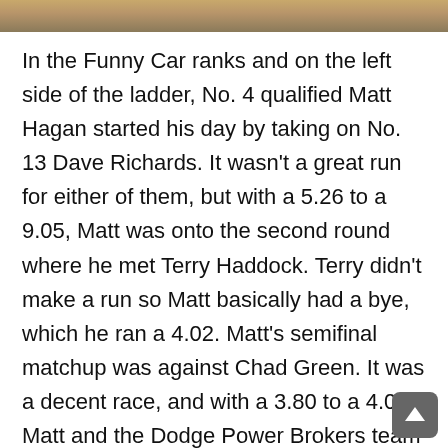[Figure (photo): Partial photo strip at top of page showing a blurred outdoor scene with warm brown/tan tones]
In the Funny Car ranks and on the left side of the ladder, No. 4 qualified Matt Hagan started his day by taking on No. 13 Dave Richards. It wasn't a great run for either of them, but with a 5.26 to a 9.05, Matt was onto the second round where he met Terry Haddock. Terry didn't make a run so Matt basically had a bye, which he ran a 4.02. Matt's semifinal matchup was against Chad Green. It was a decent race, and with a 3.80 to a 4.01, Matt and the Dodge Power Brokers team were into the finals. On the other side of the ladder, No. 6 qualified Blake Alexander started his day by taking on No. 11 JR Todd. JR had problems quickly, eventually running a 10.93 while Blake ran a solid 3.96. In the second round he faced Cruz Pedregon. It